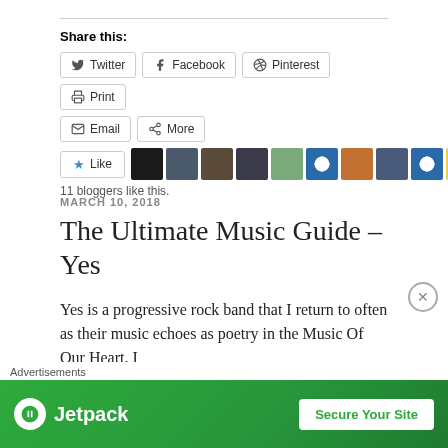Share this:
Twitter  Facebook  Pinterest  Print  Email  More
[Figure (other): Like button with star icon, followed by 10 avatar thumbnails of bloggers]
11 bloggers like this.
MARCH 10, 2018
The Ultimate Music Guide – Yes
Yes is a progressive rock band that I return to often as their music echoes as poetry in the Music Of Our Heart. I
[Figure (other): Jetpack advertisement banner: green background with Jetpack logo and 'Secure Your Site' button]
Advertisements